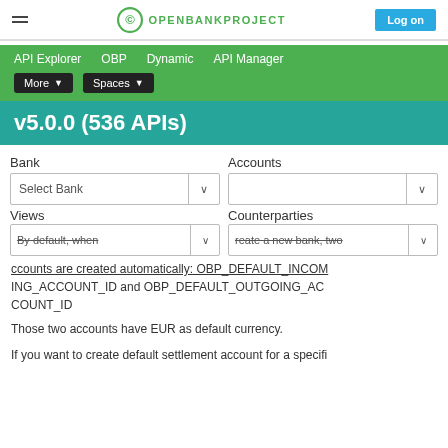OPENBANKPROJECT | Log on
API Explorer  OBP  Dynamic  API Manager  More  Spaces
v5.0.0 (536 APIs)
Bank | Select Bank | Accounts
Views | Counterparties
By default, when you create a new bank, two accounts are created automatically: OBP_DEFAULT_INCOMING_ACCOUNT_ID and OBP_DEFAULT_OUTGOING_ACCOUNT_ID
Those two accounts have EUR as default currency.
If you want to create default settlement account for a specifi